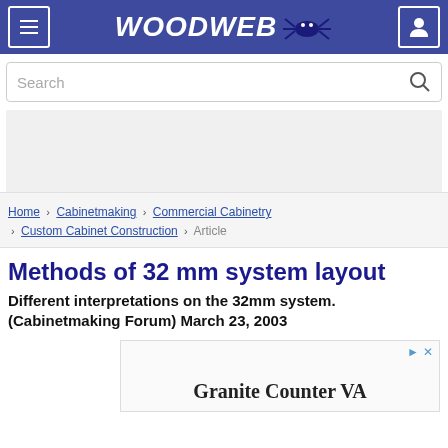WOODWEB
[Figure (screenshot): Search bar with magnifying glass icon]
[Figure (other): Advertisement placeholder area (gray box)]
Home › Cabinetmaking › Commercial Cabinetry › Custom Cabinet Construction › Article
Methods of 32 mm system layout
Different interpretations on the 32mm system. (Cabinetmaking Forum) March 23, 2003
[Figure (other): Advertisement area with text: Granite Counter VA]